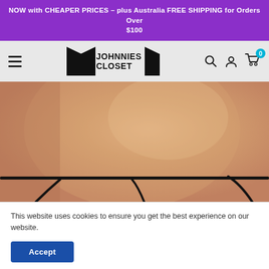NOW with CHEAPER PRICES – plus Australia FREE SHIPPING for Orders Over $100
[Figure (logo): Johnnies Closet logo with two wing/door shapes flanking the text JOHNNIES CLOSET]
[Figure (photo): Close-up of a male torso wearing a black string thong/g-string underwear, skin tone background]
This website uses cookies to ensure you get the best experience on our website.
Accept